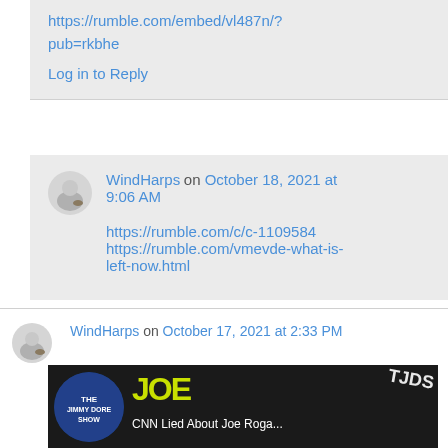https://rumble.com/embed/vl487n/?pub=rkbhe
Log in to Reply
WindHarps on October 18, 2021 at 9:06 AM
https://rumble.com/c/c-1109584
https://rumble.com/vmevde-what-is-left-now.html
WindHarps on October 17, 2021 at 2:33 PM
[Figure (screenshot): Video thumbnail for 'CNN Lied About Joe Roga...' from The Jimmy Dore Show (TJDS) on Rumble]